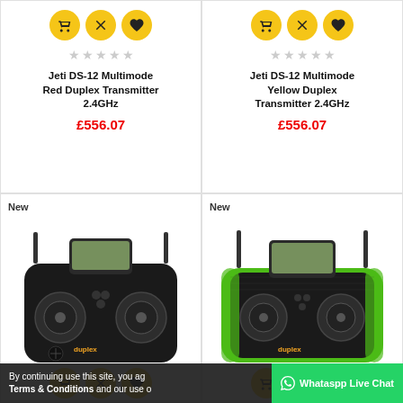[Figure (screenshot): E-commerce product listing page showing four RC transmitters in a 2x2 grid. Top two cards show Jeti DS-12 Multimode Red and Yellow Duplex Transmitter 2.4GHz at £556.07 each with action icons and star ratings. Bottom two cards show new products with photos of black and green Jeti Duplex transmitters with New badges. A cookie consent bar and WhatsApp live chat button appear at the bottom.]